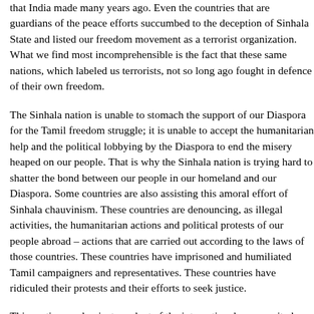that India made many years ago. Even the countries that are guardians of the peace efforts succumbed to the deception of Sinhala State and listed our freedom movement as a terrorist organization. What we find most incomprehensible is the fact that these same nations, which labeled us terrorists, not so long ago fought in defence of their own freedom.
The Sinhala nation is unable to stomach the support of our Diaspora for the Tamil freedom struggle; it is unable to accept the humanitarian help and the political lobbying by the Diaspora to end the misery heaped on our people. That is why the Sinhala nation is trying hard to shatter the bond between our people in our homeland and our Diaspora. Some countries are also assisting this amoral effort of Sinhala chauvinism. These countries are denouncing, as illegal activities, the humanitarian actions and political protests of our people abroad – actions that are carried out according to the laws of those countries. These countries have imprisoned and humiliated Tamil campaigners and representatives. These countries have ridiculed their protests and their efforts to seek justice.
This partisan and unjust conduct of the international community has severely undermined the confidence our people had in the. And it has paved the way for the breakdown of the ceasefire and the peace efforts. Furthermore, the generous military and